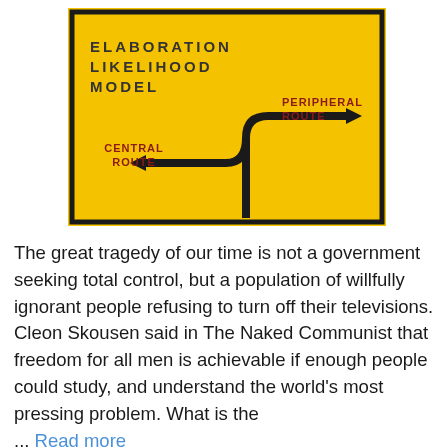[Figure (infographic): Yellow road sign style diagram illustrating the Elaboration Likelihood Model. The sign has a dark border on a yellow background. Title text reads 'ELABORATION LIKELIHOOD MODEL' in dark spaced caps at top left. Two routes are shown: an arrow curving right labeled 'PERIPHERAL ROUTE' in dark red, and an arrow pointing left labeled 'CENTRAL ROUTE' in dark red, both branching from a central vertical path.]
The great tragedy of our time is not a government seeking total control, but a population of willfully ignorant people refusing to turn off their televisions. Cleon Skousen said in The Naked Communist that freedom for all men is achievable if enough people could study, and understand the world's most pressing problem. What is the ... Read more